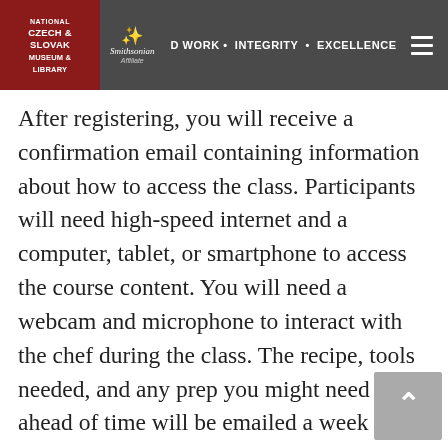National Czech & Slovak Museum & Library | Smithsonian Affiliate | HARD WORK • INTEGRITY • EXCELLENCE
After registering, you will receive a confirmation email containing information about how to access the class. Participants will need high-speed internet and a computer, tablet, or smartphone to access the course content. You will need a webcam and microphone to interact with the chef during the class. The recipe, tools needed, and any prep you might need to do ahead of time will be emailed a week before each class. You will purchase the ingredients and cook along with the chef during the class.